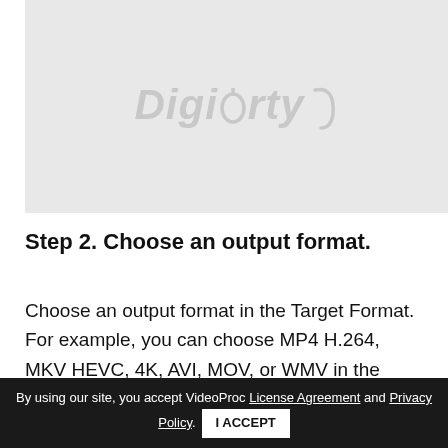[Figure (logo): Digiarty logo in italic bold text with a circular arc element, displayed on a light gray background]
Step 2. Choose an output format.
Choose an output format in the Target Format. For example, you can choose MP4 H.264, MKV HEVC, 4K, AVI, MOV, or WMV in the Video tab, or choose iPhone, iPad, Android, Huawei, Samsung, PS4, or the output format container and the
By using our site, you accept VideoProc License Agreement and Privacy Policy. I ACCEPT